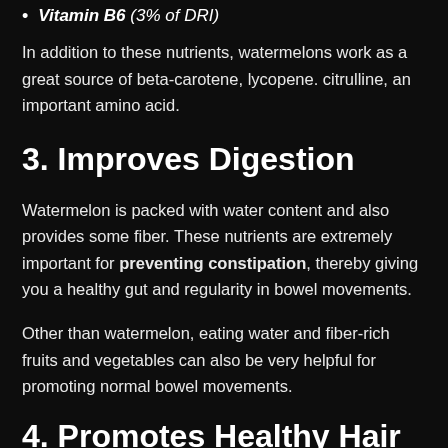Vitamin B6 (3% of DRI)
In addition to these nutrients, watermelons work as a great source of beta-carotene, lycopene. citrulline, an important amino acid.
3. Improves Digestion
Watermelon is packed with water content and also provides some fiber. These nutrients are extremely important for preventing constipation, thereby giving you a healthy gut and regularity in bowel movements.
Other than watermelon, eating water and fiber-rich fruits and vegetables can also be very helpful for promoting normal bowel movements.
4. Promotes Healthy Hair and Skin